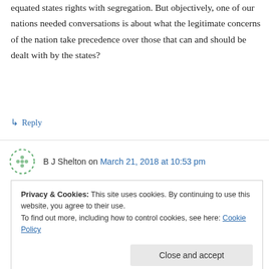equated states rights with segregation. But objectively, one of our nations needed conversations is about what the legitimate concerns of the nation take precedence over those that can and should be dealt with by the states?
↳ Reply
B J Shelton on March 21, 2018 at 10:53 pm
Forgot to add that, without the first amendment –
Privacy & Cookies: This site uses cookies. By continuing to use this website, you agree to their use.
To find out more, including how to control cookies, see here: Cookie Policy
Close and accept
nation be? It doesn't bear thinking about.